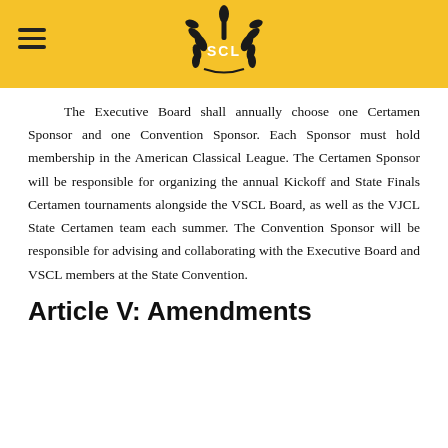SCL logo header with hamburger menu
The Executive Board shall annually choose one Certamen Sponsor and one Convention Sponsor. Each Sponsor must hold membership in the American Classical League. The Certamen Sponsor will be responsible for organizing the annual Kickoff and State Finals Certamen tournaments alongside the VSCL Board, as well as the VJCL State Certamen team each summer. The Convention Sponsor will be responsible for advising and collaborating with the Executive Board and VSCL members at the State Convention.
Article V: Amendments